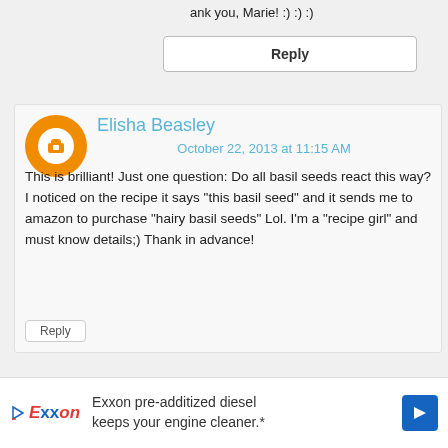ank you, Marie! :) :) :)
[Figure (screenshot): Reply button - white rectangular button with bold 'Reply' text]
Elisha Beasley
October 22, 2013 at 11:15 AM
This is brilliant! Just one question: Do all basil seeds react this way? I noticed on the recipe it says "this basil seed" and it sends me to amazon to purchase "hairy basil seeds" Lol. I'm a "recipe girl" and must know details;) Thank in advance!
[Figure (screenshot): Small Reply button]
Replies
[Figure (screenshot): Exxon pre-additized diesel keeps your engine cleaner.* advertisement banner]